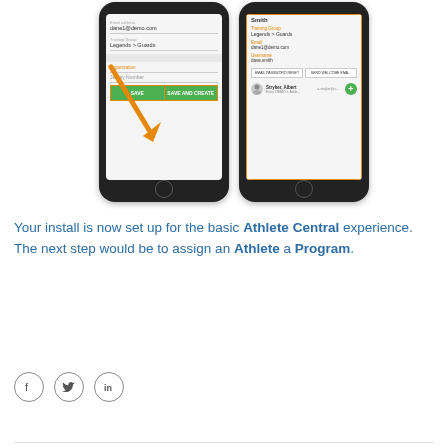[Figure (screenshot): Two smartphone screenshots side by side. Left phone shows a form with fields for Email Address (dane1@demo.com), Training Group (Legends > Guards), Organization field highlighted with orange arrow pointing to it, Jersey Number field, and green SAVE / SAVE AND CREATE buttons with orange border. Right phone shows an athlete profile with name Smith, Training Group Legends > Guards, Email dane1@demo.com, Username dave.smith, EMAIL PASSWORD RESET and SEND WELCOME EMAIL buttons, and Stryker, Albert athlete row with a green plus button.]
Your install is now set up for the basic Athlete Central experience. The next step would be to assign an Athlete a Program.
[Figure (infographic): Social sharing icons: Facebook (f), Twitter (bird), LinkedIn (in) — three circular outline icons in a row.]